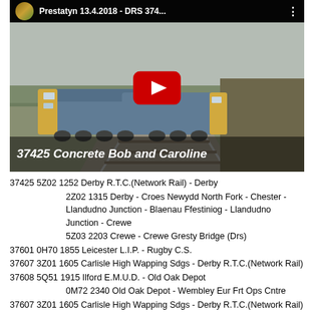[Figure (screenshot): YouTube video thumbnail showing two DRS Class 37 locomotives (37425 Concrete Bob and Caroline) on a railway line. Title bar reads 'Prestatyn 13.4.2018 - DRS 374...' with a red YouTube play button overlay. White bold text at bottom reads '37425 Concrete Bob and Caroline'.]
37425 5Z02 1252 Derby R.T.C.(Network Rail) - Derby
2Z02 1315 Derby - Croes Newydd North Fork - Chester - Llandudno Junction - Blaenau Ffestiniog - Llandudno Junction - Crewe
5Z03 2203 Crewe - Crewe Gresty Bridge (Drs)
37601 0H70 1855 Leicester L.I.P. - Rugby C.S.
37607 3Z01 1605 Carlisle High Wapping Sdgs - Derby R.T.C.(Network Rail)
37608 5Q51 1915 Ilford E.M.U.D. - Old Oak Depot
0M72 2340 Old Oak Depot - Wembley Eur Frt Ops Cntre
37607 3Z01 1605 Carlisle High Wapping Sdgs - Derby R.T.C.(Network Rail)